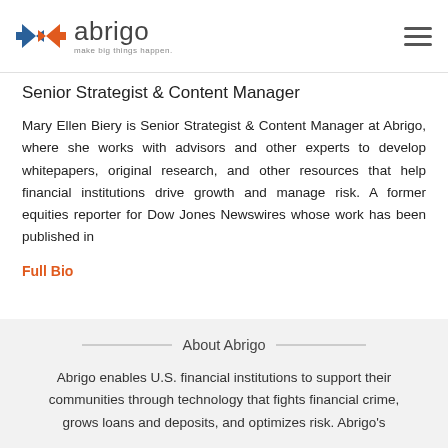abrigo — make big things happen.
Senior Strategist & Content Manager
Mary Ellen Biery is Senior Strategist & Content Manager at Abrigo, where she works with advisors and other experts to develop whitepapers, original research, and other resources that help financial institutions drive growth and manage risk. A former equities reporter for Dow Jones Newswires whose work has been published in
Full Bio
About Abrigo
Abrigo enables U.S. financial institutions to support their communities through technology that fights financial crime, grows loans and deposits, and optimizes risk. Abrigo's